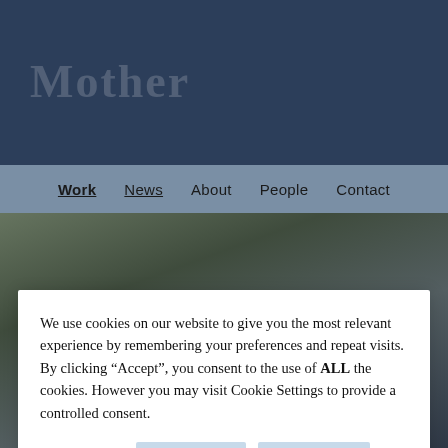[Figure (screenshot): Website screenshot showing a dark navy header with 'Mother' logo text, a navigation bar with Work, News, About, People, Contact links, and a background photo of an outdoor scene with large italic headline text 'Save Your Teeth From You' overlaid.]
Mother
Work   News   About   People   Contact
Save Your Teeth From You
We use cookies on our website to give you the most relevant experience by remembering your preferences and repeat visits. By clicking “Accept”, you consent to the use of ALL the cookies. However you may visit Cookie Settings to provide a controlled consent.
Cookie settings   REJECT   ACCEPT